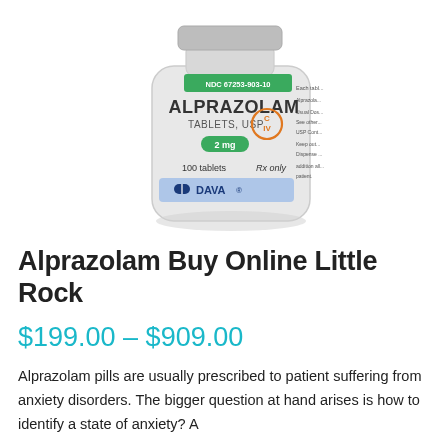[Figure (photo): Alprazolam Tablets USP 2mg bottle by DAVA Pharmaceuticals, NDC 67253-903-10, 100 tablets, Rx only, CIV schedule]
Alprazolam Buy Online Little Rock
$199.00 – $909.00
Alprazolam pills are usually prescribed to patient suffering from anxiety disorders. The bigger question at hand arises is how to identify a state of anxiety? A